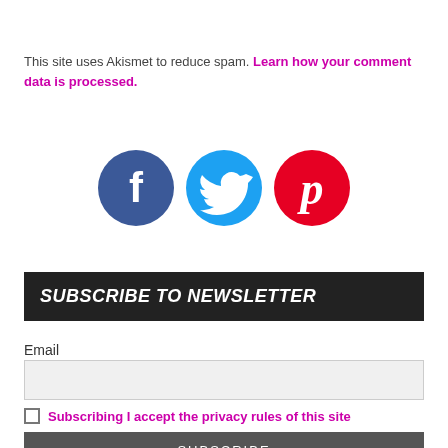This site uses Akismet to reduce spam. Learn how your comment data is processed.
[Figure (illustration): Three social media icons: Facebook (dark blue circle with white f), Twitter (light blue circle with white bird), Pinterest (red circle with white P logo)]
SUBSCRIBE TO NEWSLETTER
Email
Subscribing I accept the privacy rules of this site
SUBSCRIBE